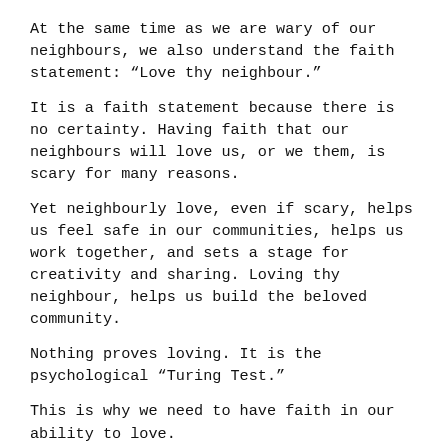At the same time as we are wary of our neighbours, we also understand the faith statement: “Love thy neighbour.”
It is a faith statement because there is no certainty. Having faith that our neighbours will love us, or we them, is scary for many reasons.
Yet neighbourly love, even if scary, helps us feel safe in our communities, helps us work together, and sets a stage for creativity and sharing. Loving thy neighbour, helps us build the beloved community.
Nothing proves loving. It is the psychological “Turing Test.”
This is why we need to have faith in our ability to love.
Generosity relies on this faith in love, so does kindness and compassion.
When we use these loving skills, it allows us to find common ground, inside ourselves as well as with others.
Sometimes we try to love our neighbour hoping we will be loved back.